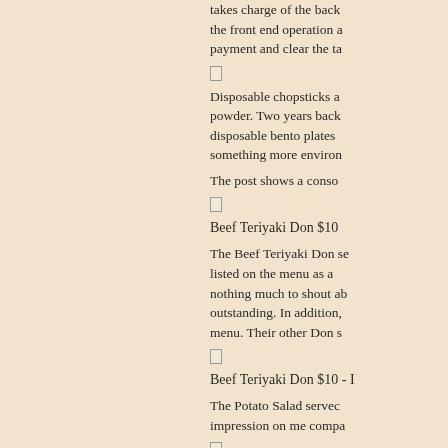takes charge of the back end operation and the front end operation a... payment and clear the ta...
[Figure (other): Small checkbox/square icon]
Disposable chopsticks a... powder. Two years back disposable bento plates something more environ...
The post shows a conso...
[Figure (other): Small checkbox/square icon]
Beef Teriyaki Don $10
The Beef Teriyaki Don se... listed on the menu as a ... nothing much to shout ab... outstanding. In addition, menu. Their other Don s...
[Figure (other): Small checkbox/square icon]
Beef Teriyaki Don $10 - I...
The Potato Salad servec... impression on me compa...
[Figure (other): Small checkbox/square icon]
Beef Teriyaki Don $10...